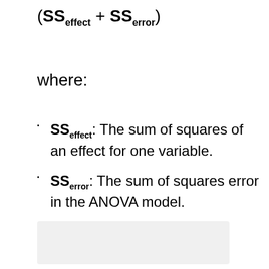where:
SS_effect: The sum of squares of an effect for one variable.
SS_error: The sum of squares error in the ANOVA model.
[Figure (other): Light gray rectangular box at the bottom of the page]